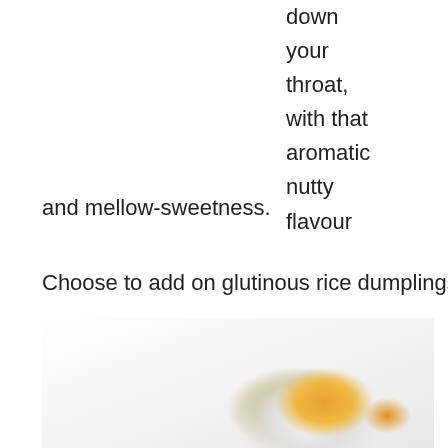down your throat, with that aromatic nutty flavour and mellow-sweetness.
Choose to add on glutinous rice dumplings for NT$45.
[Figure (photo): A white ceramic bowl containing a light-colored sweet soup (likely taro or lotus seed dessert) with pieces of orange-colored fruit (possibly mango or papaya), with a white ceramic spoon resting in it. To the left, a partially visible empty white bowl on a plate.]